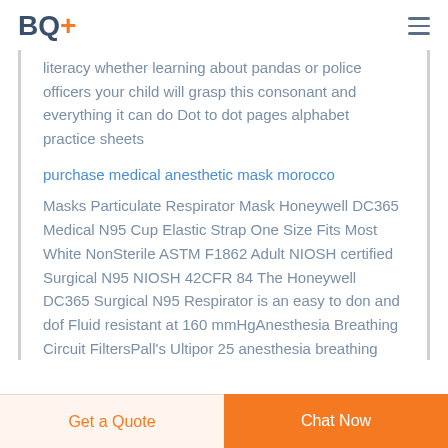BQ+
literacy whether learning about pandas or police officers your child will grasp this consonant and everything it can do Dot to dot pages alphabet practice sheets
purchase medical anesthetic mask morocco
Masks Particulate Respirator Mask Honeywell DC365 Medical N95 Cup Elastic Strap One Size Fits Most White NonSterile ASTM F1862 Adult NIOSH certified Surgical N95 NIOSH 42CFR 84 The Honeywell DC365 Surgical N95 Respirator is an easy to don and dof Fluid resistant at 160 mmHgAnesthesia Breathing Circuit FiltersPall's Ultipor 25 anesthesia breathing
Get a Quote | Chat Now